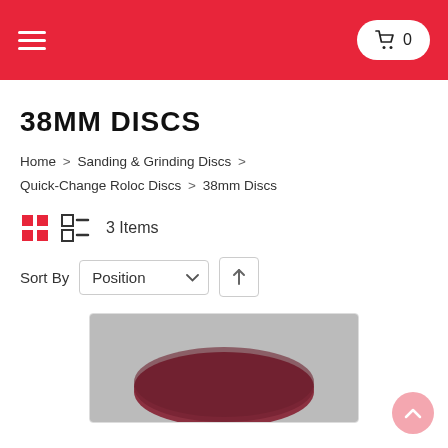38MM DISCS — e-commerce page header with hamburger menu and cart (0 items)
38MM DISCS
Home > Sanding & Grinding Discs > Quick-Change Roloc Discs > 38mm Discs
3 Items
Sort By  Position
[Figure (photo): Partial view of a sanding disc product image on a grey background]